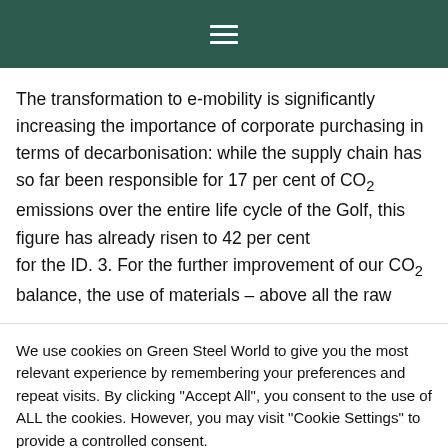☰
The transformation to e-mobility is significantly increasing the importance of corporate purchasing in terms of decarbonisation: while the supply chain has so far been responsible for 17 per cent of CO2 emissions over the entire life cycle of the Golf, this figure has already risen to 42 per cent for the ID. 3. For the further improvement of our CO2 balance, the use of materials – above all the raw
We use cookies on Green Steel World to give you the most relevant experience by remembering your preferences and repeat visits. By clicking "Accept All", you consent to the use of ALL the cookies. However, you may visit "Cookie Settings" to provide a controlled consent.
Cookie Settings | Accept All